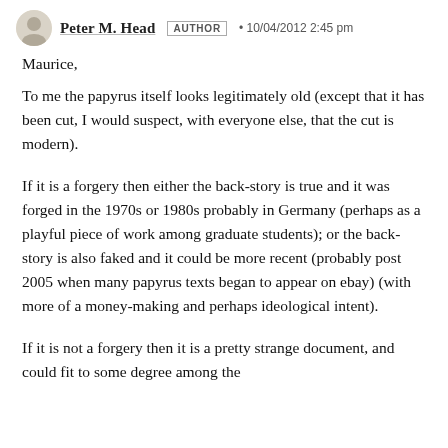Peter M. Head AUTHOR • 10/04/2012 2:45 pm
Maurice,
To me the papyrus itself looks legitimately old (except that it has been cut, I would suspect, with everyone else, that the cut is modern).
If it is a forgery then either the back-story is true and it was forged in the 1970s or 1980s probably in Germany (perhaps as a playful piece of work among graduate students); or the back-story is also faked and it could be more recent (probably post 2005 when many papyrus texts began to appear on ebay) (with more of a money-making and perhaps ideological intent).
If it is not a forgery then it is a pretty strange document, and could fit to some degree among the